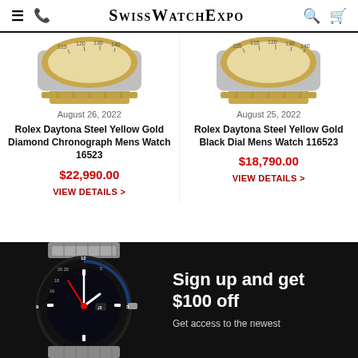SwissWatchExpo
[Figure (photo): Top portion of two Rolex Daytona watches showing the bracelet and bezel area]
August 26, 2022
Rolex Daytona Steel Yellow Gold Diamond Chronograph Mens Watch 16523
$22,990.00
VIEW DETAILS >
August 25, 2022
Rolex Daytona Steel Yellow Gold Black Dial Mens Watch 116523
$18,790.00
VIEW DETAILS >
[Figure (photo): Dark background promotional banner with a Rolex GMT-Master II watch and sign-up offer]
Sign up and get $100 off
Get access to the newest